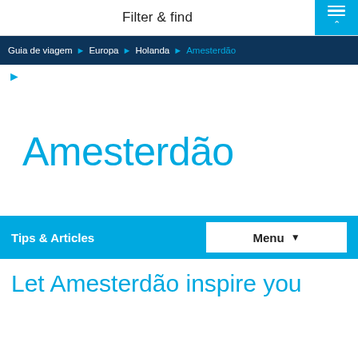Filter & find
Guia de viagem > Europa > Holanda > Amesterdão
Amesterdão
Tips & Articles
Let Amesterdão inspire you